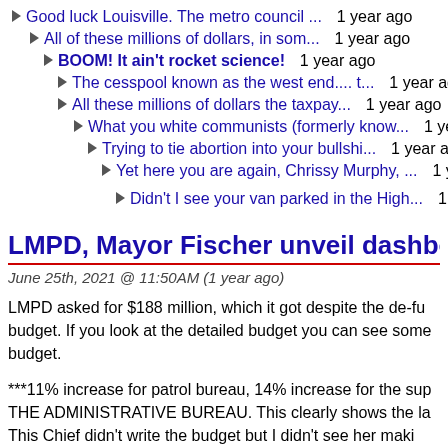Good luck Louisville. The metro council ...  1 year ago
All of these millions of dollars, in som...  1 year ago
BOOM! It ain't rocket science!  1 year ago
The cesspool known as the west end.... t...  1 year ago
All these millions of dollars the taxpay...  1 year ago
What you white communists (formerly know...  1 year ago
Trying to tie abortion into your bullshi...  1 year ago
Yet here you are again, Chrissy Murphy, ...  1 year ago
Didn't I see your van parked in the High...  1 year ago
LMPD, Mayor Fischer unveil dashboard for pub
June 25th, 2021 @ 11:50AM (1 year ago)
LMPD asked for $188 million, which it got despite the de-fu budget. If you look at the detailed budget you can see some budget.
***11% increase for patrol bureau, 14% increase for the sup THE ADMINISTRATIVE BUREAU. This clearly shows the la This Chief didn't write the budget but I didn't see her maki